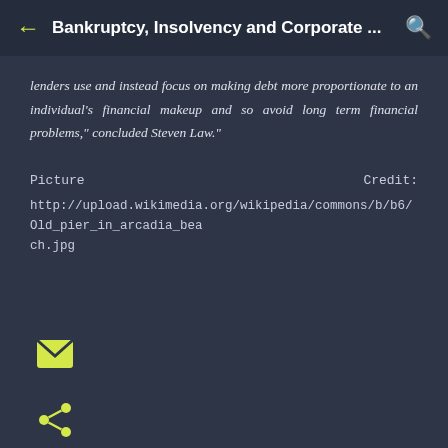Bankruptcy, Insolvency and Corporate ...
lenders use and instead focus on making debt more proportionate to an individual's financial makeup and so avoid long term financial problems," concluded Steven Law."
Picture	Credit:
http://upload.wikimedia.org/wikipedia/commons/b/b6/Old_pier_in_arcadia_beach.jpg